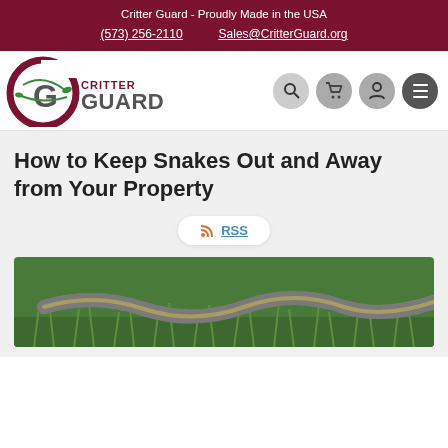Critter Guard - Proudly Made in the USA
(573) 256-2110   Sales@CritterGuard.org
[Figure (logo): Critter Guard logo with circular C and G letters in dark red and gray, with text CRITTER GUARD]
How to Keep Snakes Out and Away from Your Property
RSS
[Figure (photo): Close-up photo of a snake on green grass, showing patterned scales]